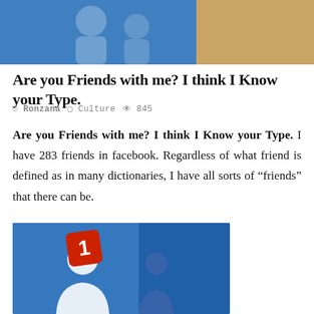[Figure (photo): Top banner image showing Facebook-related graphic with blue background and skin-tone/beige element]
Are you Friends with me? I think I Know your Type.
Ronzana   Culture   845
Are you Friends with me? I think I Know your Type. I have 283 friends in facebook. Regardless of what friend is defined as in many dictionaries, I have all sorts of “friends” that there can be.
[Figure (photo): Facebook friend request notification icon showing blue background with white silhouette figures and a red notification badge showing the number 1]